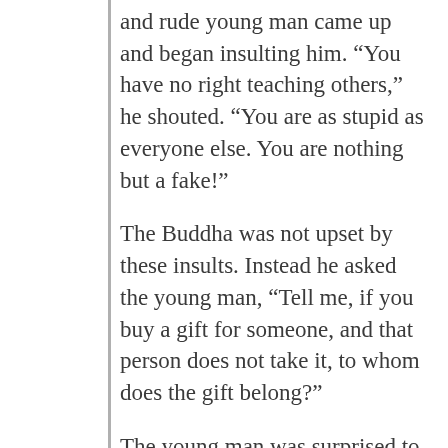and rude young man came up and began insulting him. “You have no right teaching others,” he shouted. “You are as stupid as everyone else. You are nothing but a fake!”
The Buddha was not upset by these insults. Instead he asked the young man, “Tell me, if you buy a gift for someone, and that person does not take it, to whom does the gift belong?”
The young man was surprised to be asked such a strange question and answered, “It would belong to me, because I bought the gift.”